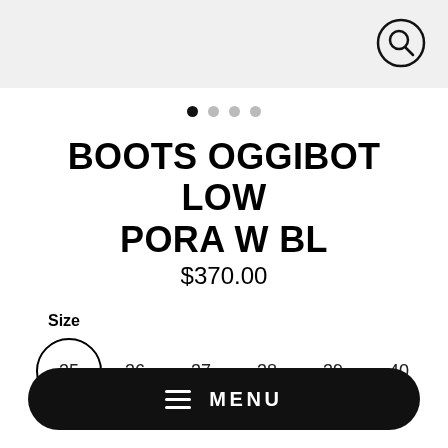[Figure (screenshot): Top header bar with search icon (magnifying glass in a circle) on the right]
[Figure (other): Carousel dots: one filled black dot followed by three grey dots]
BOOTS OGGIBOT LOW PORA W BL
$370.00
Size
35 (selected), 36, 37, 38, 39, 40
[Figure (other): Black rounded pill-shaped menu bar with hamburger icon and MENU text in white]